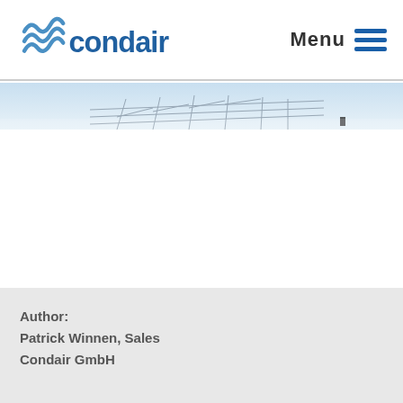condair Menu
[Figure (photo): Partial view of a building rooftop or industrial structure with a pale blue sky background — banner strip image]
Author:
Patrick Winnen, Sales
Condair GmbH